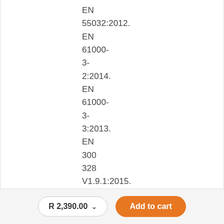EN 55032:2012. EN 61000-3-2:2014. EN 61000-3-3:2013. EN 300 328 V1.9.1:2015. EN 301 489-1
R 2,390.00
Add to cart